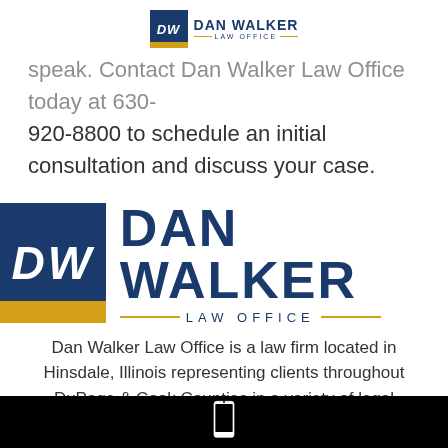[Figure (logo): Dan Walker Law Office logo - small version in page header]
speak. Contact Dan Walker Law Office today at 630-920-8800 to schedule an initial consultation and discuss your case.
[Figure (logo): Dan Walker Law Office logo - large version]
Dan Walker Law Office is a law firm located in Hinsdale, Illinois representing clients throughout DuPage & Cook Counties in a variety of legal matters including those pertaining to divorce & family law, child custody, child support, guardianship, personal